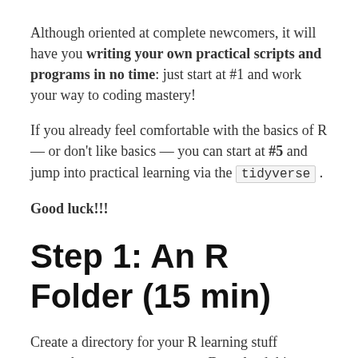Although oriented at complete newcomers, it will have you writing your own practical scripts and programs in no time: just start at #1 and work your way to coding mastery!
If you already feel comfortable with the basics of R — or don't like basics — you can start at #5 and jump into practical learning via the tidyverse.
Good luck!!!
Step 1: An R Folder (15 min)
Create a directory for your R learning stuff somewhere on your computer. Download this (very) short introduction to R by Paul Torfs and Claudia Bauer and store it in that folder. Now read the